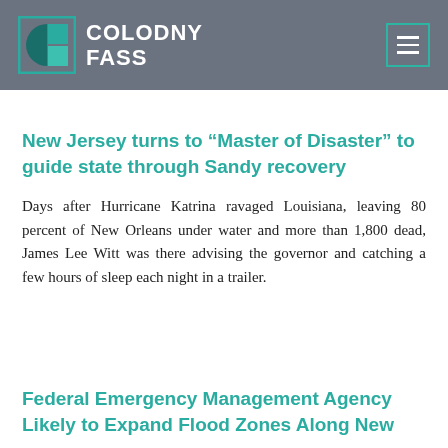COLODNY FASS
New Jersey turns to “Master of Disaster” to guide state through Sandy recovery
Days after Hurricane Katrina ravaged Louisiana, leaving 80 percent of New Orleans under water and more than 1,800 dead, James Lee Witt was there advising the governor and catching a few hours of sleep each night in a trailer.
Federal Emergency Management Agency Likely to Expand Flood Zones Along New